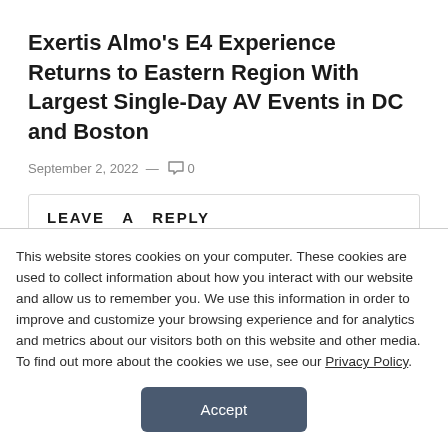Exertis Almo's E4 Experience Returns to Eastern Region With Largest Single-Day AV Events in DC and Boston
September 2, 2022 — 0
LEAVE A REPLY
You must be logged in to post a comment.
This website stores cookies on your computer. These cookies are used to collect information about how you interact with our website and allow us to remember you. We use this information in order to improve and customize your browsing experience and for analytics and metrics about our visitors both on this website and other media. To find out more about the cookies we use, see our Privacy Policy.
Accept